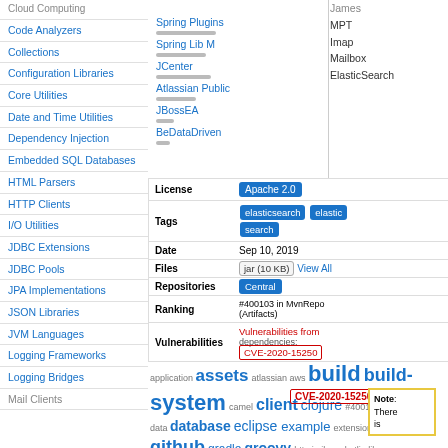Cloud Computing
Code Analyzers
Collections
Configuration Libraries
Core Utilities
Date and Time Utilities
Dependency Injection
Embedded SQL Databases
HTML Parsers
HTTP Clients
I/O Utilities
JDBC Extensions
JDBC Pools
JPA Implementations
JSON Libraries
JVM Languages
Logging Frameworks
Logging Bridges
Mail Clients
Spring Plugins
Spring Lib M
JCenter
Atlassian Public
JBossEA
BeDataDriven
James
MPT
Imap
Mailbox
ElasticSearch
|  |  |
| --- | --- |
| License | Apache 2.0 |
| Tags | elasticsearch elastic search |
| Date | Sep 10, 2019 |
| Files | jar (10 KB) View All |
| Repositories | Central |
| Ranking | #400103 in MvnRepository (Artifacts) |
| Vulnerabilities | Vulnerabilities from dependencies: CVE-2020-15250 |
Popular Tags
[Figure (infographic): Tag cloud with words of varying sizes including: aar, amazon, android, apache, api, application, assets, atlassian, aws, build, build-system, camel, client, clojure, data, database, eclipse, example, extension, github, gradle, groovy, http, io, jboss, kotlin, library, logging, maven, module, npm, plugin, repository, rlang, scala, sdk, server, service, spring, starter, testing, tools, ui, web, webapp]
Note:
There
is
Web site developed by @frodriquez